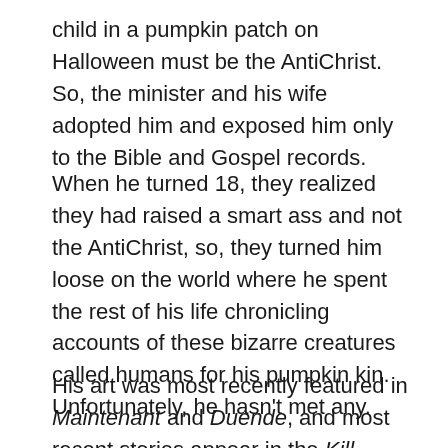child in a pumpkin patch on Halloween must be the AntiChrist. So, the minister and his wife adopted him and exposed him only to the Bible and Gospel records.
When he turned 18, they realized they had raised a smart ass and not the AntiChrist, so, they turned him loose on the world where he spent the rest of his life chronicling accounts of these bizarre creatures called humans for his pumpkin kin. Unfortunately, he hasn't met any.
His art was most recently featured in Maintenant and Duende, and most recent stories appear in the Kill Switch, Monsters We Forgot and On Time horror